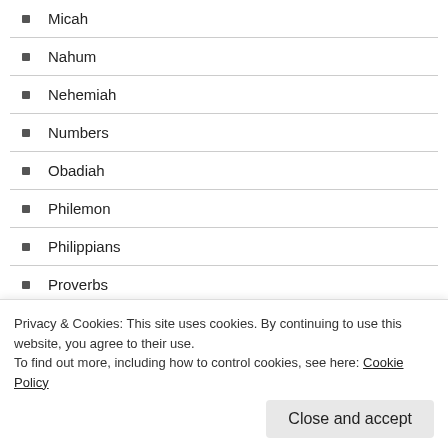Micah
Nahum
Nehemiah
Numbers
Obadiah
Philemon
Philippians
Proverbs
Psalms
Revelation
Romans
Privacy & Cookies: This site uses cookies. By continuing to use this website, you agree to their use. To find out more, including how to control cookies, see here: Cookie Policy
Close and accept